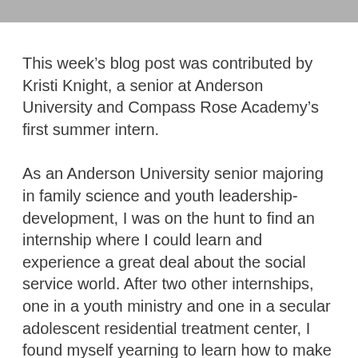This week’s blog post was contributed by Kristi Knight, a senior at Anderson University and Compass Rose Academy’s first summer intern.
As an Anderson University senior majoring in family science and youth leadership-development, I was on the hunt to find an internship where I could learn and experience a great deal about the social service world. After two other internships, one in a youth ministry and one in a secular adolescent residential treatment center, I found myself yearning to learn how to make two of my greatest passions function together. How do residential care and ministry intertwine? Can